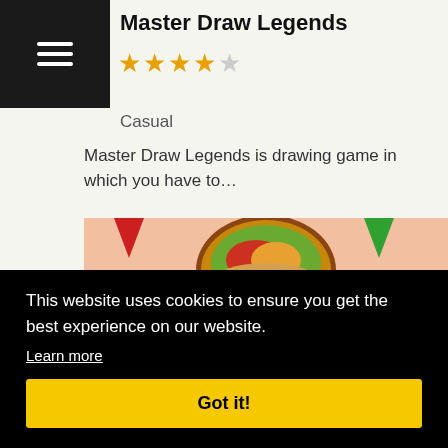Master Draw Legends
★★★★☆
Casual
Master Draw Legends is drawing game in which you have to…
[Figure (screenshot): Screenshot of a taco restaurant mobile game showing colorful taco-themed game art with red letters spelling TACO and food items]
This website uses cookies to ensure you get the best experience on our website.
Learn more
Got it!